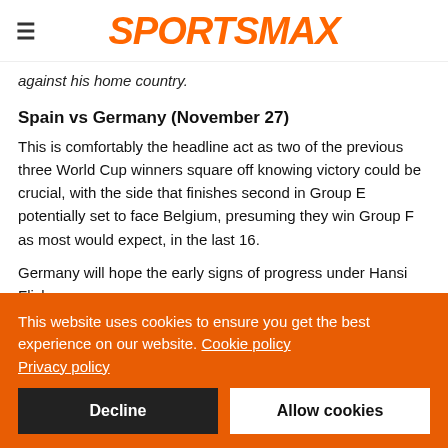SPORTSMAX
against his home country.
Spain vs Germany (November 27)
This is comfortably the headline act as two of the previous three World Cup winners square off knowing victory could be crucial, with the side that finishes second in Group E potentially set to face Belgium, presuming they win Group F as most would expect, in the last 16.
Germany will hope the early signs of progress under Hansi Flick
This website uses cookies to ensure you get the best experience on our website. Cookie policy Privacy policy
Decline
Allow cookies